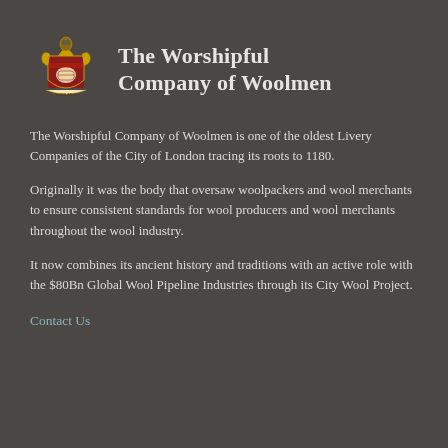[Figure (logo): Coat of arms / heraldic crest of The Worshipful Company of Woolmen, featuring red and gold heraldic design with shield and supporters]
The Worshipful Company of Woolmen
The Worshipful Company of Woolmen is one of the oldest Livery Companies of the City of London tracing its roots to 1180.
Originally it was the body that oversaw woolpackers and wool merchants to ensure consistent standards for wool producers and wool merchants throughout the wool industry.
It now combines its ancient history and traditions with an active role with the $80Bn Global Wool Pipeline Industries through its City Wool Project.
Contact Us